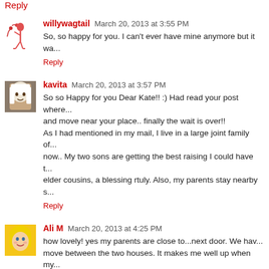Reply (partial, top cropped)
willywagtail  March 20, 2013 at 3:55 PM
So, so happy for you. I can't ever have mine anymore but it wa...
Reply
kavita  March 20, 2013 at 3:57 PM
So so Happy for you Dear Kate!! :) Had read your post where... and move near your place.. finally the wait is over!!
As I had mentioned in my mail, I live in a large joint family of... now.. My two sons are getting the best raising I could have t... elder cousins, a blessing rtuly. Also, my parents stay nearby s...
Reply
Ali M  March 20, 2013 at 4:25 PM
how lovely! yes my parents are close to...next door. We hav... move between the two houses. It makes me well up when my... pop are included. There is a lot of positives however on some... its all in good fun and tollerance!!
Reply